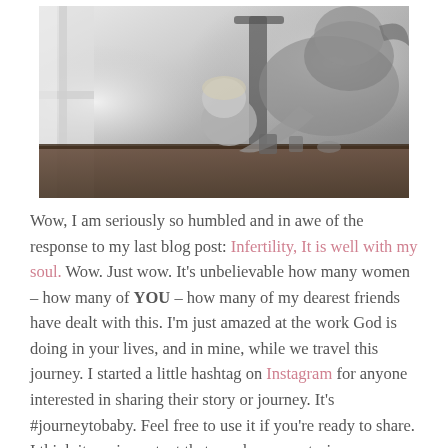[Figure (photo): Black and white photograph of a woman leaning over a table toward a young toddler/child, appearing to kiss or nuzzle the child's head. They are seated at a wooden table near a window with natural light. The image has a soft, intimate feel.]
Wow, I am seriously so humbled and in awe of the response to my last blog post: Infertility, It is well with my soul. Wow. Just wow. It's unbelievable how many women – how many of YOU – how many of my dearest friends have dealt with this. I'm just amazed at the work God is doing in your lives, and in mine, while we travel this journey. I started a little hashtag on Instagram for anyone interested in sharing their story or journey. It's #journeytobaby. Feel free to use it if you're ready to share. I think its so important that we share our stories